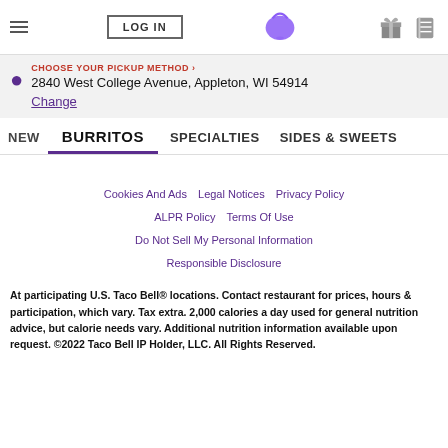LOG IN | Taco Bell logo | gift icon | coupon icon
CHOOSE YOUR PICKUP METHOD > 2840 West College Avenue, Appleton, WI 54914 Change
NEW  BURRITOS  SPECIALTIES  SIDES & SWEETS
Cookies And Ads  Legal Notices  Privacy Policy  ALPR Policy  Terms Of Use  Do Not Sell My Personal Information  Responsible Disclosure
At participating U.S. Taco Bell® locations. Contact restaurant for prices, hours & participation, which vary. Tax extra. 2,000 calories a day used for general nutrition advice, but calorie needs vary. Additional nutrition information available upon request. ©2022 Taco Bell IP Holder, LLC. All Rights Reserved.